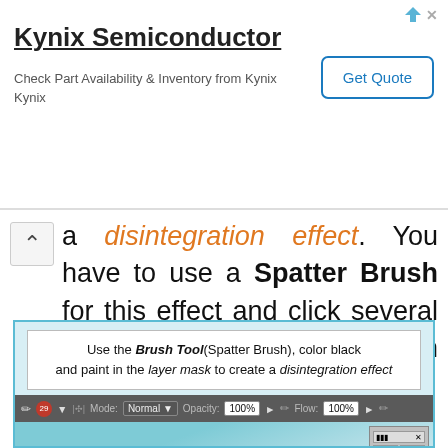[Figure (screenshot): Advertisement banner for Kynix Semiconductor with title, description, and Get Quote button]
a disintegration effect. You have to use a Spatter Brush for this effect and click several times using different brush sizes.
[Figure (screenshot): Screenshot of Photoshop showing Brush Tool (Spatter Brush) instruction panel and toolbar with Mode: Normal, Opacity: 100%, Flow: 100%, and a photo of a woman's face with disintegration effect being applied]